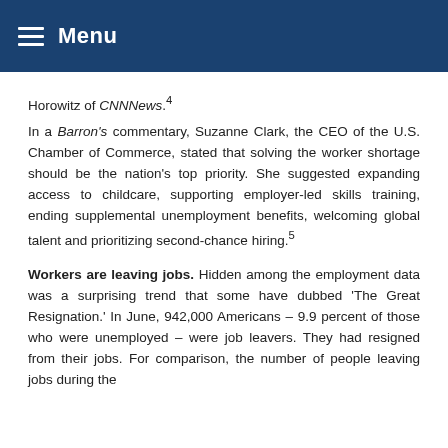Menu
Horowitz of CNNNews.4
In a Barron's commentary, Suzanne Clark, the CEO of the U.S. Chamber of Commerce, stated that solving the worker shortage should be the nation's top priority. She suggested expanding access to childcare, supporting employer-led skills training, ending supplemental unemployment benefits, welcoming global talent and prioritizing second-chance hiring.5
Workers are leaving jobs. Hidden among the employment data was a surprising trend that some have dubbed 'The Great Resignation.' In June, 942,000 Americans – 9.9 percent of those who were unemployed – were job leavers. They had resigned from their jobs. For comparison, the number of people leaving jobs during the